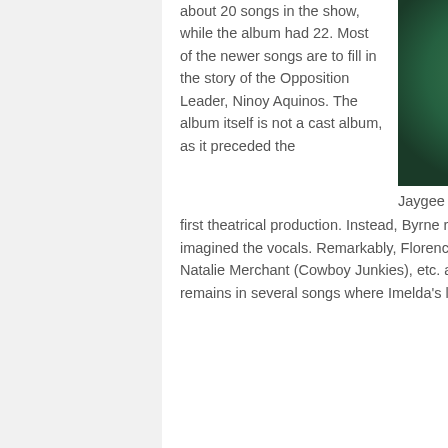about 20 songs in the show, while the album had 22. Most of the newer songs are to fill in the story of the Opposition Leader, Ninoy Aquinos. The album itself is not a cast album, as it preceded the first theatrical production.
[Figure (photo): Jaygee Macapugay as Imelda, photographed against a green background, wearing dark clothing with decorative embroidery.]
Jaygee Macapugay as Imelda. Photo: Navid Baraty
Instead, Byrne recruited specific performers for each song based on how he imagined the vocals. Remarkably, Florence Welch (Florence + The Machine), Cyndi Lauper, Sharon Jones, Natalie Merchant (Cowboy Junkies), etc. all agreed to perform. A bit of the rich texture this lends the album remains in several songs where Imelda's lines are sung by different